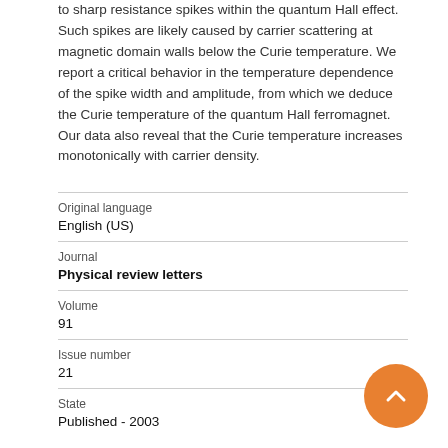to sharp resistance spikes within the quantum Hall effect. Such spikes are likely caused by carrier scattering at magnetic domain walls below the Curie temperature. We report a critical behavior in the temperature dependence of the spike width and amplitude, from which we deduce the Curie temperature of the quantum Hall ferromagnet. Our data also reveal that the Curie temperature increases monotonically with carrier density.
| Original language | English (US) |
| Journal | Physical review letters |
| Volume | 91 |
| Issue number | 21 |
| State | Published - 2003 |